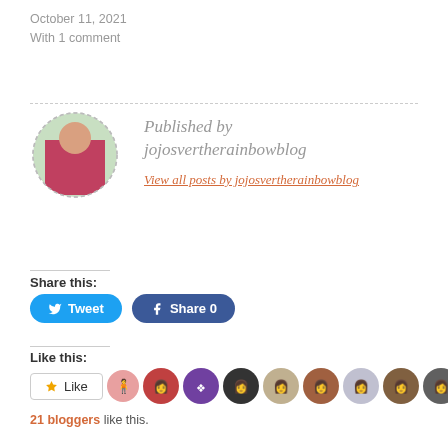October 11, 2021
With 1 comment
Published by jojosovertherainbowblog
View all posts by jojosvertherainbowblog
Share this:
Tweet    Share 0
Like this:
Like
21 bloggers like this.